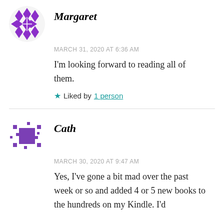[Figure (illustration): Purple diamond/quilt pattern avatar for Margaret]
Margaret
MARCH 31, 2020 AT 6:36 AM
I'm looking forward to reading all of them.
★ Liked by 1 person
[Figure (illustration): Purple pixel/mosaic avatar for Cath]
Cath
MARCH 30, 2020 AT 9:47 AM
Yes, I've gone a bit mad over the past week or so and added 4 or 5 new books to the hundreds on my Kindle. I'd